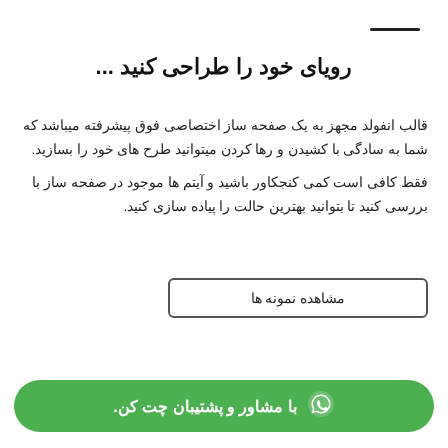رویای خود را طراحی کنید ...
قالب انفولد مجهز به یک صفحه ساز اختصاصی فوق پیشرفته میباشد که شما به سادگی با کشیدن و رها کردن میتوانید طرح های خود را بسازید.
فقط کافی است کمی کنجکاور باشید و آیتم ها موجود در صفحه ساز با بررسی کنید تا بتوانید بهترین حالت را پیاده سازی کنید.
مشاهده نمونه ها
با مشاور و پشتیبان چت کن.